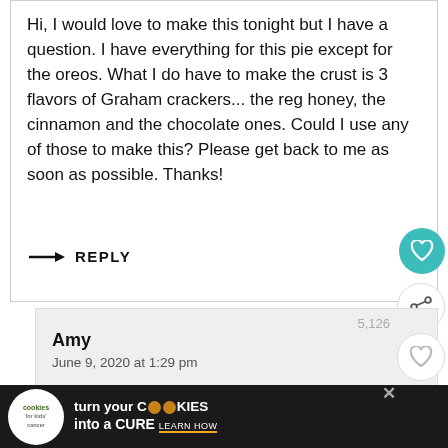Hi, I would love to make this tonight but I have a question. I have everything for this pie except for the oreos. What I do have to make the crust is 3 flavors of Graham crackers... the reg honey, the cinnamon and the chocolate ones. Could I use any of those to make this? Please get back to me as soon as possible. Thanks!
→ REPLY
5,126
Amy
June 9, 2020 at 1:29 pm
Hi Tammie! Honestly, any of those three would be great and would give a slightly different
[Figure (infographic): Advertisement banner: cookies for kids cancer - turn your cookies into a CURE LEARN HOW]